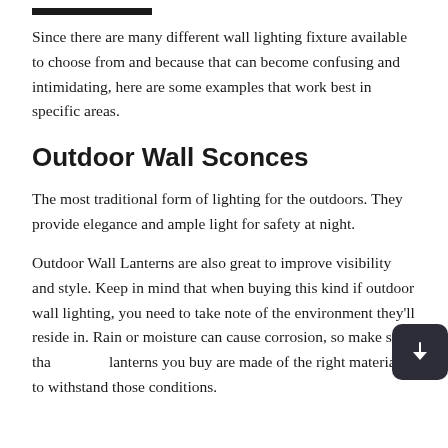Since there are many different wall lighting fixture available to choose from and because that can become confusing and intimidating, here are some examples that work best in specific areas.
Outdoor Wall Sconces
The most traditional form of lighting for the outdoors. They provide elegance and ample light for safety at night.
Outdoor Wall Lanterns are also great to improve visibility and style. Keep in mind that when buying this kind if outdoor wall lighting, you need to take note of the environment they'll reside in. Rain or moisture can cause corrosion, so make sure that the lanterns you buy are made of the right materials to withstand those conditions.